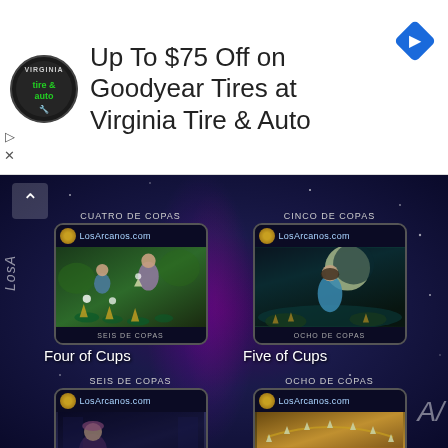[Figure (screenshot): Advertisement banner: Virginia Tire & Auto logo (circular black logo with 'tire & auto' text), ad text 'Up To $75 Off on Goodyear Tires at Virginia Tire & Auto', blue diamond navigation icon on right, play and close controls on left side]
Up To $75 Off on Goodyear Tires at Virginia Tire & Auto
[Figure (screenshot): Tarot card grid on dark space/nebula background showing four tarot cards in 2x2 layout: Four of Cups (top left), Five of Cups (top right), Six of Cups (bottom left), Eight of Cups (bottom right). Each card from LosArcanos.com with fantasy illustrations. Labels in white text below each card name.]
Four of Cups
Five of Cups
Six of Cups
Eight of Cups